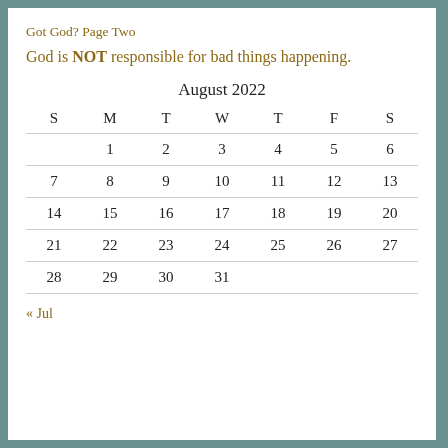Got God? Page Two
God is NOT responsible for bad things happening.
| S | M | T | W | T | F | S |
| --- | --- | --- | --- | --- | --- | --- |
|  | 1 | 2 | 3 | 4 | 5 | 6 |
| 7 | 8 | 9 | 10 | 11 | 12 | 13 |
| 14 | 15 | 16 | 17 | 18 | 19 | 20 |
| 21 | 22 | 23 | 24 | 25 | 26 | 27 |
| 28 | 29 | 30 | 31 |  |  |  |
« Jul